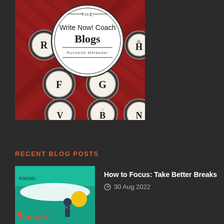[Figure (illustration): Book cover for 'The Write Now! Coach Blogs' by Rochelle Melander, showing typewriter keys (R, F, G, &, H, V, B, N) on a red patterned background, with a circular logo overlay]
RECENT BLOG POSTS
[Figure (illustration): Blog post thumbnail image with teal/turquoise background showing a figure and text 'FOCUS: BREAKS' with decorative elements]
How to Focus: Take Better Breaks
30 Aug 2022